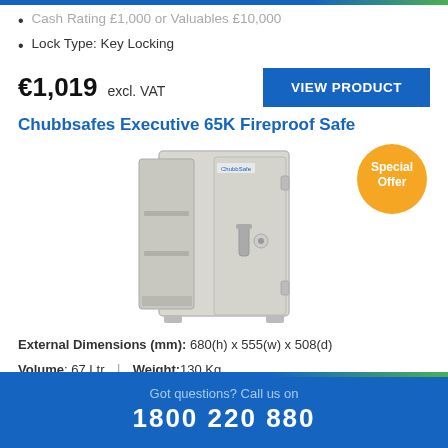Cash Rating £1,000 or Valuables £10,000
Lock Type: Key Locking
€1,019 excl. VAT
VIEW PRODUCT
Chubbsafes Executive 65K Fireproof Safe
[Figure (photo): Chubbsafes Executive 65K Fireproof Safe product photo showing an open light grey safe with shelves and key lock, with a Special Offer badge.]
External Dimensions (mm): 680(h) x 555(w) x 508(d)
Volume: 67 Ltr   |   Weight: 130 Kg
Provides 60 mins fire protection
Supplied with 1 Shelf & 1 Tray
Got questions? Call us on 1800 220 880